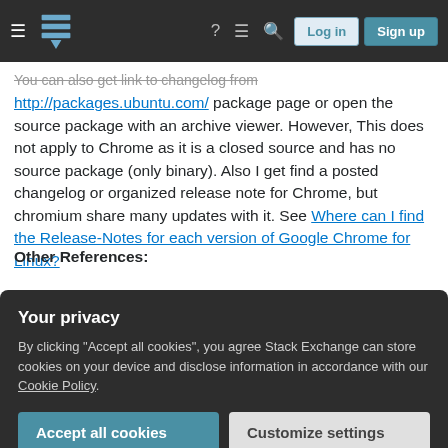Stack Exchange navigation bar with Log in and Sign up buttons
You can also get link to changelog from http://packages.ubuntu.com/ package page or open the source package with an archive viewer. However, This does not apply to Chrome as it is a closed source and has no source package (only binary). Also I get find a posted changelog or organized release note for Chrome, but chromium share many updates with it. See Where can I find the Release-Notes for each version of Google Chrome for Linux?
Other References:
Your privacy
By clicking "Accept all cookies", you agree Stack Exchange can store cookies on your device and disclose information in accordance with our Cookie Policy.
Accept all cookies
Customize settings
How did I get that?